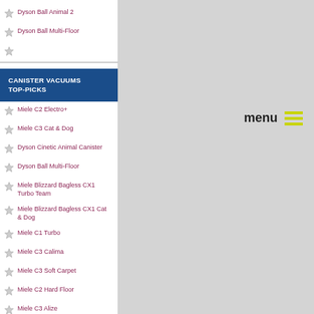Dyson Ball Animal 2
Dyson Ball Multi-Floor
CANISTER VACUUMS TOP-PICKS
Miele C2 Electro+
Miele C3 Cat & Dog
Dyson Cinetic Animal Canister
Dyson Ball Multi-Floor
Miele Blizzard Bagless CX1 Turbo Team
Miele Blizzard Bagless CX1 Cat & Dog
Miele C1 Turbo
Miele C3 Calima
Miele C3 Soft Carpet
Miele C2 Hard Floor
Miele C3 Alize
menu